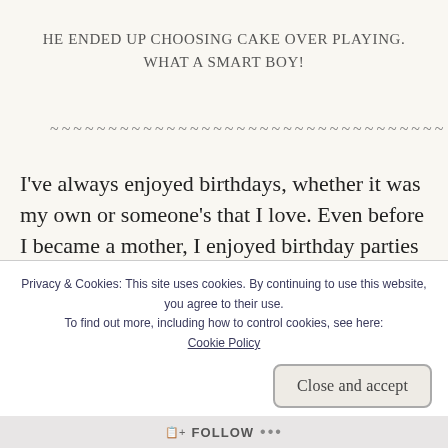HE ENDED UP CHOOSING CAKE OVER PLAYING. WHAT A SMART BOY!
~~~~~~~~~~~~~~~~~~~~~~~~~~~~~~~~~
I've always enjoyed birthdays, whether it was my own or someone's that I love. Even before I became a mother, I enjoyed birthday parties for little people. Once I had children of my own, nothing b… m…
Privacy & Cookies: This site uses cookies. By continuing to use this website, you agree to their use. To find out more, including how to control cookies, see here: Cookie Policy
Close and accept
FOLLOW ...